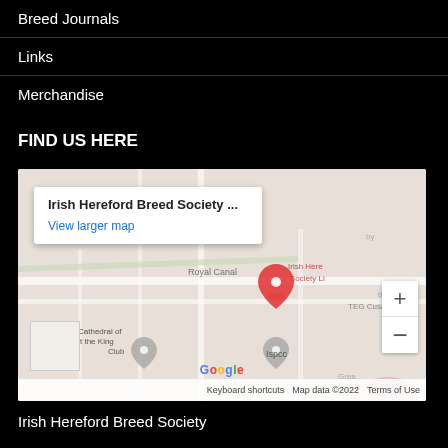Breed Journals
Links
Merchandise
FIND US HERE
[Figure (map): Google Maps embed showing location of Irish Hereford Breed Society, with popup label 'Irish Hereford Breed Society ...' and 'View larger map' link. Map shows Royal Canal area, Cathedral of Christ the King, TEG Cusack Pa, Ispcc. Zoom controls visible on right. Google branding and Map data ©2022 footer.]
Irish Hereford Breed Society